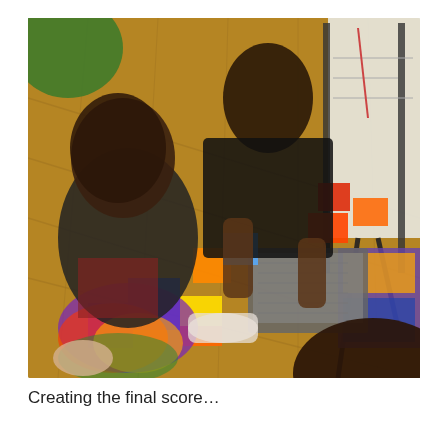[Figure (photo): People crouching on a wooden floor arranging colorful paper squares and shapes. A whiteboard on an easel and a laptop are visible in the background.]
Creating the final score…